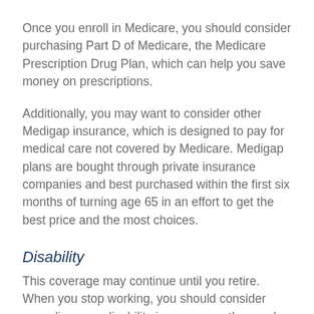Once you enroll in Medicare, you should consider purchasing Part D of Medicare, the Medicare Prescription Drug Plan, which can help you save money on prescriptions.
Additionally, you may want to consider other Medigap insurance, which is designed to pay for medical care not covered by Medicare. Medigap plans are bought through private insurance companies and best purchased within the first six months of turning age 65 in an effort to get the best price and the most choices.
Disability
This coverage may continue until you retire. When you stop working, you should consider canceling your disability insurance as the need for it has expired.
The information in this material is not intended as tax or legal advice. It may not be used for the purpose of